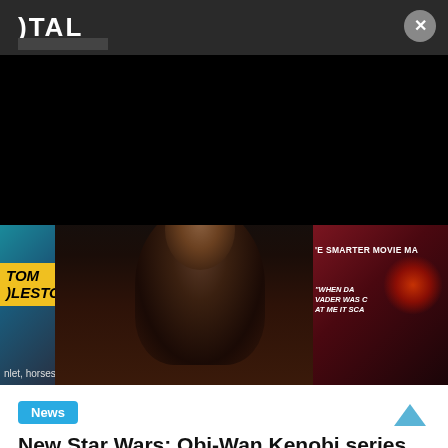[Figure (screenshot): Website header with dark background showing partial logo text 'TAL' and a close (X) button in top right corner]
[Figure (photo): Composite image showing: left panel with Tom Hiddleston promotional material with yellow starburst background, center panel showing Ewan McGregor as Obi-Wan Kenobi in dark robes with beard, right panel showing 'The Smarter Movie Ma...' text and a quote about Darth Vader]
News
New Star Wars: Obi-Wan Kenobi series images revealed
24/04/2022   Matt Yeo   2 min read